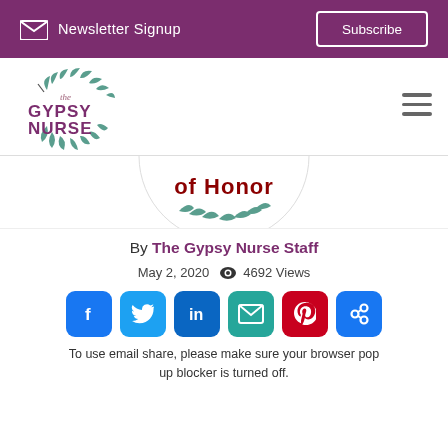Newsletter Signup | Subscribe
[Figure (logo): The Gypsy Nurse logo with circular botanical wreath and purple text]
[Figure (illustration): Partial circular badge showing 'of Honor' text with teal leaf decoration at bottom]
By The Gypsy Nurse Staff
May 2, 2020   4692 Views
[Figure (infographic): Social share buttons: Facebook, Twitter, LinkedIn, Email, Pinterest, Share]
To use email share, please make sure your browser pop up blocker is turned off.